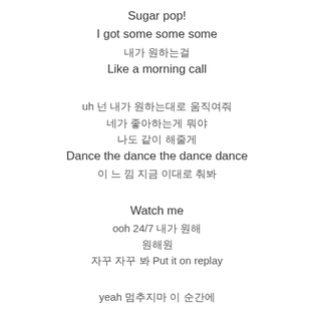Sugar pop!
I got some some some
내가 원하는걸
Like a morning call
uh 넌 내가 원하는대로 움직여줘
네가 좋아하는게 뭐야
나도 같이 해줄게
Dance the dance the dance dance
이 느 낌 지금 이대로 춰봐
Watch me
ooh 24/7 내가 원해
원해원
자꾸 자꾸 봐 Put it on replay
yeah 멈추지마 이 순간에